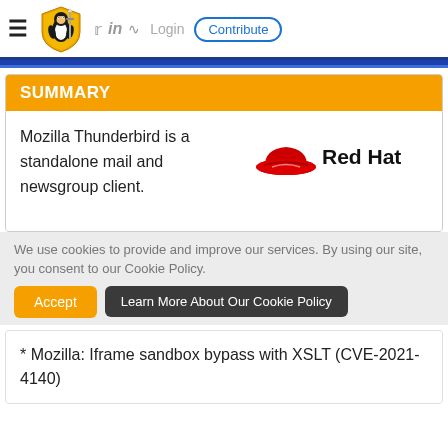≡ [Linux security penguin logo] [Twitter] [LinkedIn] [RSS] Login Contribute
SUMMARY
Mozilla Thunderbird is a standalone mail and newsgroup client.
[Figure (logo): Red Hat logo: red hat icon with 'Red Hat' text in bold black]
We use cookies to provide and improve our services. By using our site, you consent to our Cookie Policy.
Accept | Learn More About Our Cookie Policy
* Mozilla: Iframe sandbox bypass with XSLT (CVE-2021-4140)